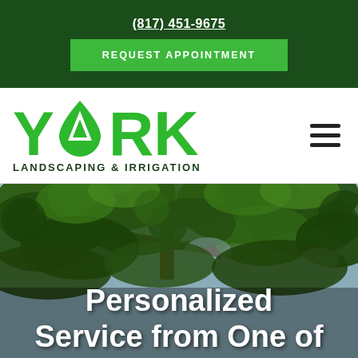(817) 451-9675
REQUEST APPOINTMENT
[Figure (logo): York Landscaping & Irrigation logo with green drop/leaf icon replacing the O in YORK]
Personalized Service from One of
[Figure (photo): Outdoor photo looking up through green tree canopy with branches and leaves against a light sky background]